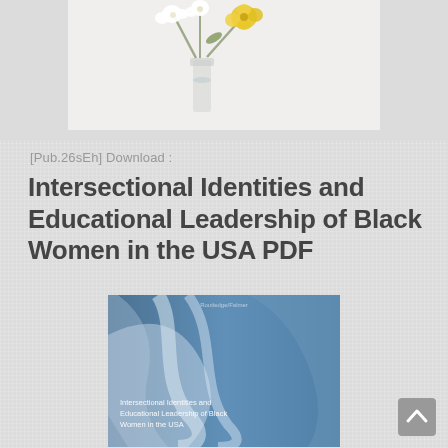[Figure (photo): Decorative photo of white and yellow flowers in a glass vase on a light background]
[Pub.26sEh] Download :
Intersectional Identities and Educational Leadership of Black Women in the USA PDF
[Figure (photo): Book cover for 'Intersectional Identities and Educational Leadership of Black Women in the USA' with blue/grey abstract wave design]
[Figure (other): Scroll-to-top button arrow icon]